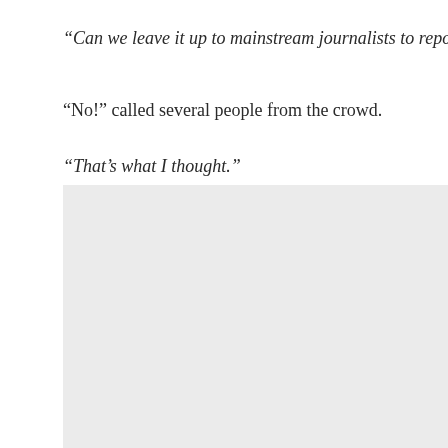“Can we leave it up to mainstream journalists to report the truth,
“No!” called several people from the crowd.
“That’s what I thought.”
[Figure (other): Gray/light background rectangle, appears to be an image placeholder]